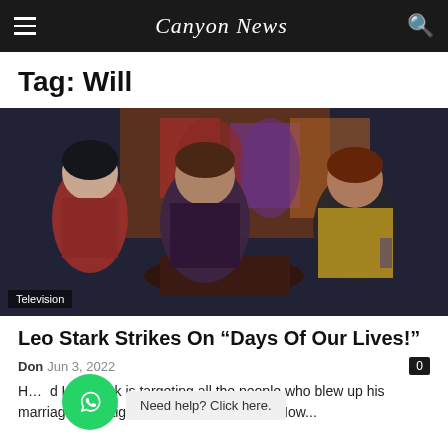Canyon News
Tag: Will
[Figure (photo): Three people sitting at a restaurant table in a dramatic scene; a woman in red, a man in dark jacket in the center, and a young man in a yellow cardigan on the right; colorful artwork visible in background.]
Television
Leo Stark Strikes On “Days Of Our Lives!”
Don  Jun 3, 2022
Ha d Leo Stark is targeting all the people who blew up his marriage to Craig on “Days of Our Lives.” Now...